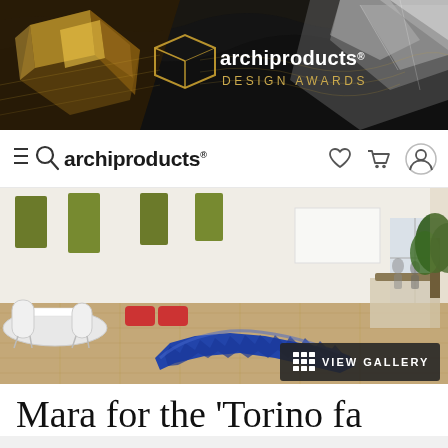[Figure (screenshot): Archiproducts Design Awards banner advertisement with dark background, gold geometric shapes on left, and silver faceted crystal on right]
archiproducts® DESIGN AWARDS
[Figure (screenshot): Archiproducts website navigation bar with hamburger/search icons, logo, and heart/cart/account icons]
[Figure (photo): Interior space showing a large blue serpentine modular sofa/bench on wood floor, red ottomans, white round table with chairs, green acoustic panels on walls, and plants. VIEW GALLERY button overlay.]
Mara for the 'Torino fa